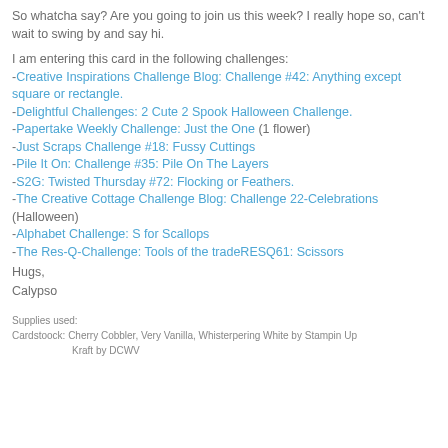So whatcha say? Are you going to join us this week?  I really hope so, can't wait to swing by and say hi.
I am entering this card in the following challenges:
-Creative Inspirations Challenge Blog: Challenge #42: Anything except square or rectangle.
-Delightful Challenges: 2 Cute 2 Spook Halloween Challenge.
-Papertake Weekly Challenge: Just the One (1 flower)
-Just Scraps Challenge #18: Fussy Cuttings
-Pile It On: Challenge #35: Pile On The Layers
-S2G: Twisted Thursday #72: Flocking or Feathers.
-The Creative Cottage Challenge Blog: Challenge 22-Celebrations (Halloween)
-Alphabet Challenge: S for Scallops
-The Res-Q-Challenge: Tools of the tradeRESQ61: Scissors
Hugs,
Calypso
Supplies used:
Cardstoock: Cherry Cobbler, Very Vanilla, Whisterpering White by Stampin Up
Kraft by DCWV